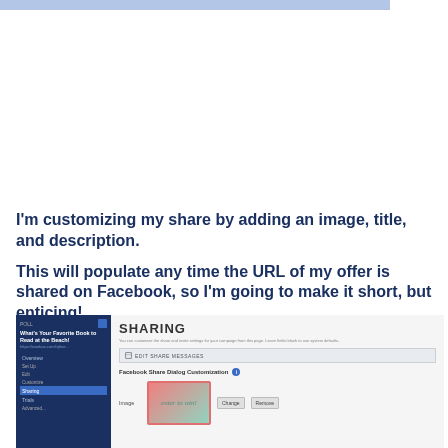[Figure (screenshot): Blue header bar at top of page]
I'm customizing my share by adding an image, title, and description.
This will populate any time the URL of my offer is shared on Facebook, so I'm going to make it short, but enticing!
[Figure (screenshot): Screenshot of a Woobox campaign sharing settings page showing a left sidebar with navigation items (Poll, What's Your Favorite Book to Read at the Beach!, Overview, Set Up, Edit, Customize, Sharing highlighted, Trials, Advanced) and a right content area with SHARING heading, description text, EDIT SHARE MESSAGES section, Facebook Share Dialog Customization with an image preview showing 'enter to win!' text and Change/Remove buttons.]